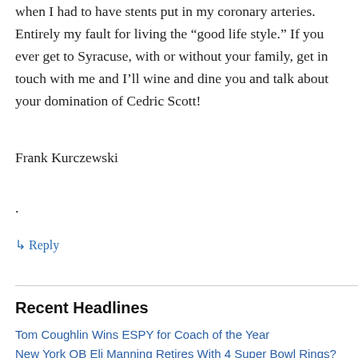when I had to have stents put in my coronary arteries. Entirely my fault for living the “good life style.” If you ever get to Syracuse, with or without your family, get in touch with me and I’ll wine and dine you and talk about your domination of Cedric Scott!
Frank Kurczewski
.
↳ Reply
Recent Headlines
Tom Coughlin Wins ESPY for Coach of the Year
New York QB Eli Manning Retires With 4 Super Bowl Rings?